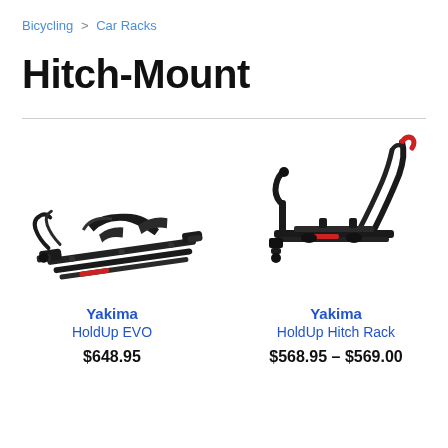Bicycling > Car Racks
Hitch-Mount
[Figure (photo): Yakima HoldUp EVO hitch-mount bike rack, folded flat, black with red accents]
Yakima
HoldUp EVO
$648.95
[Figure (photo): Yakima HoldUp Hitch Rack, partially assembled, black with red accents]
Yakima
HoldUp Hitch Rack
$568.95 – $569.00